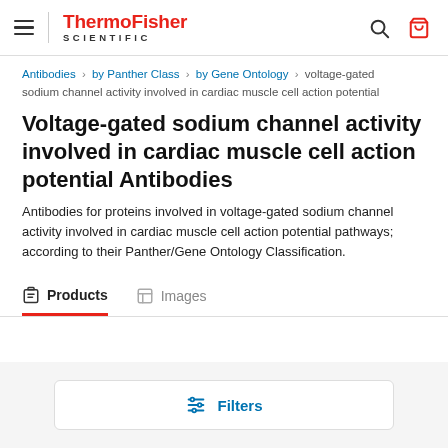ThermoFisher SCIENTIFIC — navigation header with hamburger menu, logo, search and cart icons
Antibodies › by Panther Class › by Gene Ontology › voltage-gated sodium channel activity involved in cardiac muscle cell action potential
Voltage-gated sodium channel activity involved in cardiac muscle cell action potential Antibodies
Antibodies for proteins involved in voltage-gated sodium channel activity involved in cardiac muscle cell action potential pathways; according to their Panther/Gene Ontology Classification.
Products  |  Images (tabs)
Filters